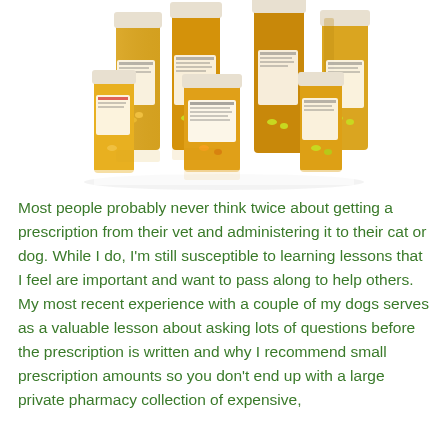[Figure (photo): A group of amber/orange prescription pill bottles with white caps, various sizes, containing colorful pills and capsules, arranged together on a white background.]
Most people probably never think twice about getting a prescription from their vet and administering it to their cat or dog.  While I do, I'm still susceptible to learning lessons that I feel are important and want to pass along to help others.  My most recent experience with a couple of my dogs serves as a valuable lesson about asking lots of questions before the prescription is written and why I recommend small prescription amounts so you don't end up with a large private pharmacy collection of expensive,